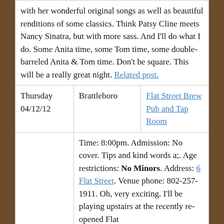with her wonderful original songs as well as beautiful renditions of some classics. Think Patsy Cline meets Nancy Sinatra, but with more sass. And I'll do what I do. Some Anita time, some Tom time, some double-barreled Anita & Tom time. Don't be square. This will be a really great night. Related post.
Thursday 04/12/12
Brattleboro
Flat Street Brew Pub and Tap Room
Time: 8:00pm. Admission: No cover. Tips and kind words a;. Age restrictions: No Minors. Address: 6 Flat Street. Venue phone: 802-257-1911. Oh, very exciting. I'll be playing upstairs at the recently re-opened Flat